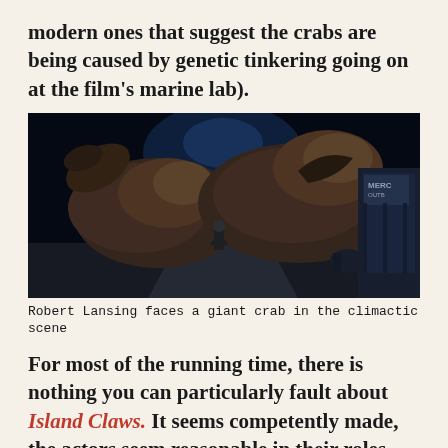modern ones that suggest the crabs are being caused by genetic tinkering going on at the film's marine lab).
[Figure (photo): A dark nighttime scene showing a giant crab creature looming over a small human figure standing on a street, with a building visible on the right side. The scene is from the film Island Claws.]
Robert Lansing faces a giant crab in the climactic scene
For most of the running time, there is nothing you can particularly fault about Island Claws. It seems competently made, the actors seem reasonable in their roles. The one source of the movie’s being is